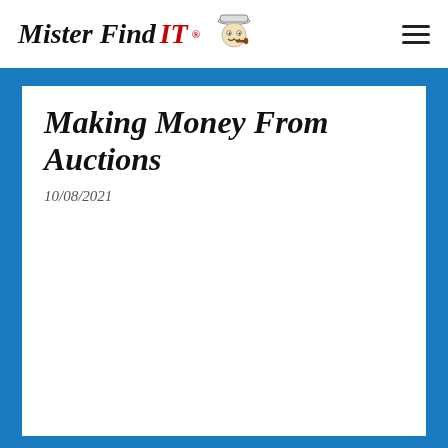Mister Find IT ®
Making Money From Auctions
10/08/2021
Making Money From Auctions!
6300% Profit In One Week
By Leon Carlson Founder of Mister Find IT